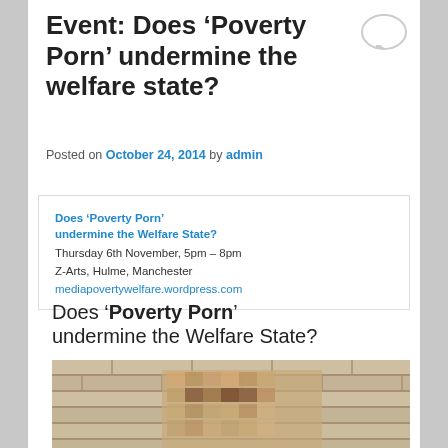Event: Does ‘Poverty Porn’ undermine the welfare state?
Posted on October 24, 2014 by admin
Does ‘Poverty Porn’ undermine the Welfare State?
Thursday 6th November, 5pm – 8pm
Z-Arts, Hulme, Manchester
mediapovertywelfare.wordpress.com
Does ‘Poverty Porn’ undermine the Welfare State?
[Figure (photo): Pixelated image of a person against a brick wall background]